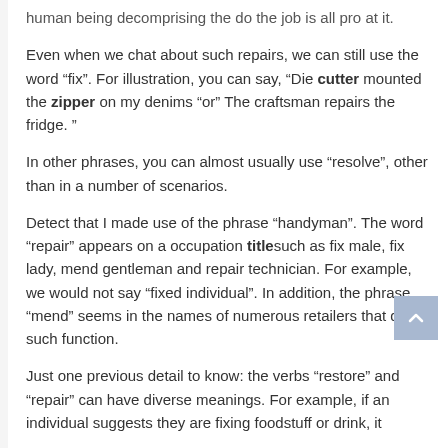human being decomprising the do the job is all pro at it.
Even when we chat about such repairs, we can still use the word “fix”. For illustration, you can say, “Die cutter mounted the zipper on my denims “or” The craftsman repairs the fridge. ”
In other phrases, you can almost usually use “resolve”, other than in a number of scenarios.
Detect that I made use of the phrase “handyman”. The word “repair” appears on a occupation titlesuch as fix male, fix lady, mend gentleman and repair technician. For example, we would not say “fixed individual”. In addition, the phrase “mend” seems in the names of numerous retailers that do such function.
Just one previous detail to know: the verbs “restore” and “repair” can have diverse meanings. For example, if an individual suggests they are fixing foodstuff or drink, it